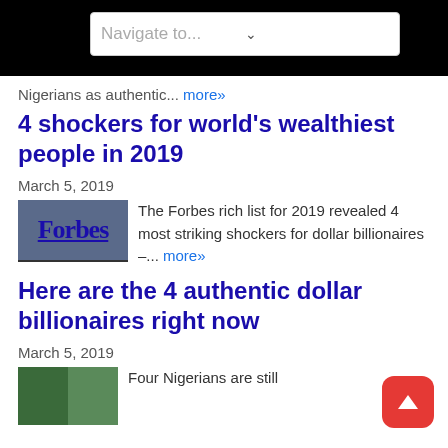[Figure (screenshot): Navigate to... dropdown selector in white rounded box on black bar]
Nigerians as authentic... more»
4 shockers for world's wealthiest people in 2019
March 5, 2019
[Figure (logo): Forbes logo (partially cut off)]
The Forbes rich list for 2019 revealed 4 most striking shockers for dollar billionaires –... more»
Here are the 4 authentic dollar billionaires right now
March 5, 2019
[Figure (photo): Small thumbnail image of two people]
Four Nigerians are still